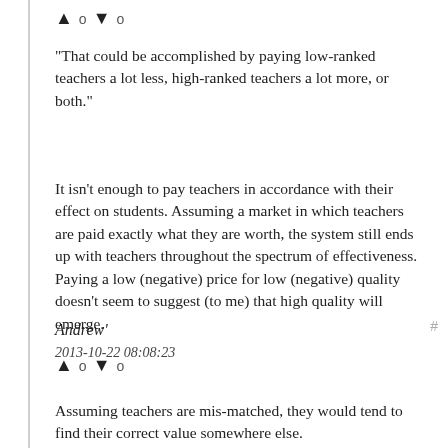[Figure (other): Vote up/down row: up arrow, 0, down arrow, 0]
"That could be accomplished by paying low-ranked teachers a lot less, high-ranked teachers a lot more, or both."
It isn't enough to pay teachers in accordance with their effect on students. Assuming a market in which teachers are paid exactly what they are worth, the system still ends up with teachers throughout the spectrum of effectiveness. Paying a low (negative) price for low (negative) quality doesn't seem to suggest (to me) that high quality will emerge.
Andrew'
2013-10-22 08:08:23
[Figure (other): Vote up/down row: up arrow, 0, down arrow, 0]
Assuming teachers are mis-matched, they would tend to find their correct value somewhere else.